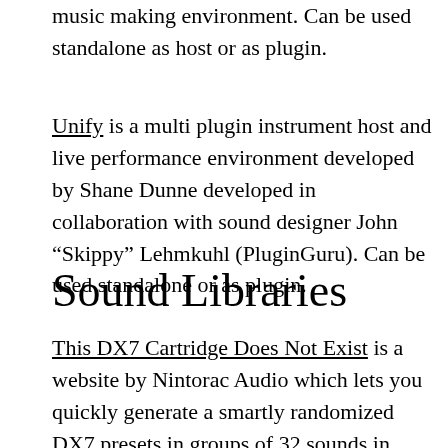music making environment. Can be used standalone as host or as plugin.
Unify is a multi plugin instrument host and live performance environment developed by Shane Dunne developed in collaboration with sound designer John “Skippy” Lehmkuhl (PluginGuru). Can be used standalone or as plugin.
Sound Libraries
This DX7 Cartridge Does Not Exist is a website by Nintorac Audio which lets you quickly generate a smartly randomized DX7 presets in groups of 32 sounds in DX7 cartridge format. From what I’ve tried, the resulting patches import cleanly into